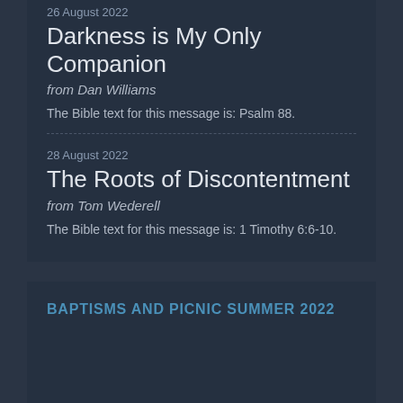26 August 2022
Darkness is My Only Companion
from Dan Williams
The Bible text for this message is: Psalm 88.
28 August 2022
The Roots of Discontentment
from Tom Wederell
The Bible text for this message is: 1 Timothy 6:6-10.
BAPTISMS AND PICNIC SUMMER 2022